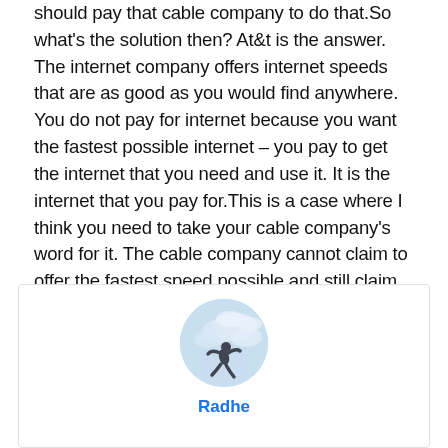should pay that cable company to do that.So what's the solution then? At&t is the answer. The internet company offers internet speeds that are as good as you would find anywhere. You do not pay for internet because you want the fastest possible internet – you pay to get the internet that you need and use it. It is the internet that you pay for.This is a case where I think you need to take your cable company's word for it. The cable company cannot claim to offer the fastest speed possible and still claim you are paying for a faster internet. If they were doing this, they would be breaking the law.
[Figure (photo): Circular avatar photo showing a person silhouetted against a cloudy sky background]
Radhe